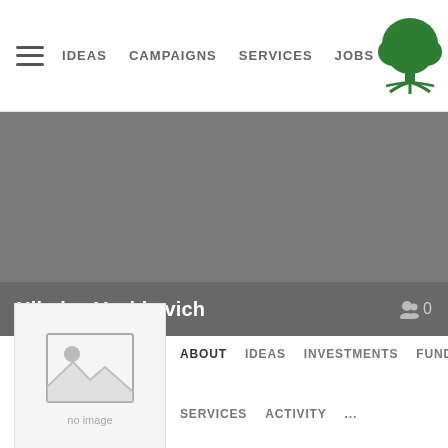IDEAS   CAMPAIGNS   SERVICES   JOBS
[Figure (logo): Green tree logo with roots]
[Figure (photo): Gray cover/banner area]
Nikolay Vashkevich
0
[Figure (photo): Profile avatar placeholder with no image icon and 'no image' label]
ABOUT   IDEAS   INVESTMENTS   FUNDRA
SERVICES   ACTIVITY   ...